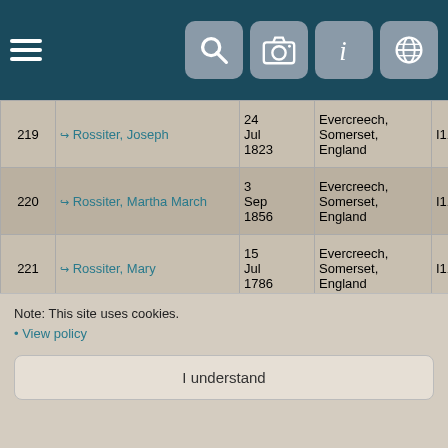Navigation header with menu and icons
| # | Name | Date | Place | ID | Tree |
| --- | --- | --- | --- | --- | --- |
| 219 | Rossiter, Joseph | 24 Jul 1823 | Evercreech, Somerset, England | I117311 | Th Wi Fa Tre |
| 220 | Rossiter, Martha March | 3 Sep 1856 | Evercreech, Somerset, England | I117290 | Th Wi Fa Tre |
| 221 | Rossiter, Mary | 15 Jul 1786 | Evercreech, Somerset, England | I117319 | Th Wi Fa Tre |
| 222 | Rossiter, Mary | 24 Apr 1867 | Evercreech, Somerset, England | I117294 | Th Wi Fa Tre |
| 223 | Rossiter, Susanna | 1 Nov | Evercreech, Somerset | I63150 | Th Wi |
Note: This site uses cookies.
• View policy
I understand